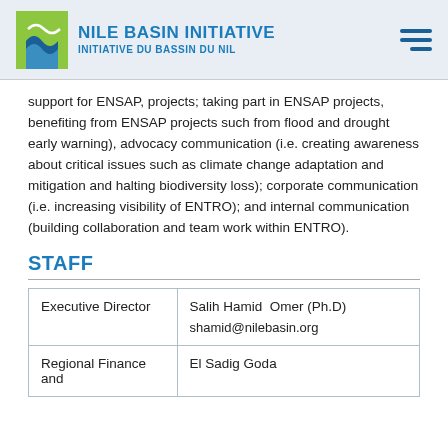NILE BASIN INITIATIVE / INITIATIVE DU BASSIN DU NIL
support for ENSAP, projects; taking part in ENSAP projects, benefiting from ENSAP projects such from flood and drought early warning), advocacy communication (i.e. creating awareness about critical issues such as climate change adaptation and mitigation and halting biodiversity loss); corporate communication (i.e. increasing visibility of ENTRO); and internal communication (building collaboration and team work within ENTRO).
STAFF
|  |  |
| --- | --- |
| Executive Director | Salih Hamid  Omer (Ph.D)

shamid@nilebasin.org |
| Regional Finance and | El Sadig Goda |